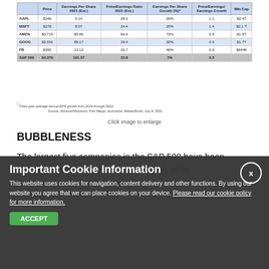|  | Price | Earnings Per Share 2021 (Est.) | Price/Earnings Ratio 2021 (Est.) | Earnings Per Share Growth (%)* | Price/Earnings/ Earnings Growth | Mkt Cap |
| --- | --- | --- | --- | --- | --- | --- |
| AAPL | $345 | 5.14 | 28.2 | 26% | 1.1 | $2.4T |
| MSFT | $278 | 8.07 | 34.4 | 25% | 1.4 | $2.1 T |
| AMZN | $3,719 | $5.86 | 66.6 | 73% | 0.9 | $1.9T |
| GOOG | $2,591 | 88.17 | 29.4 | 32% | 0.9 | $1.7T |
| FB | $350 | 13.12 | 26.7 | 46% | 0.6 | $9948 |
| S&P 500 | $4,370 | 191.37 | 22.8 | 7% | 3.3 |  |
* Three-year average annual EPS growth from 2019 through 2022.
Source: Advisors4Advisors; Fritz Meyer, economist; MarketSmith, July 9, 2021.
Click image to enlarge
BUBBLENESS
The largest five companies in the S&P 500 have been trading at low PEG ratios relative to the other
Important Cookie Information
This website uses cookies for navigation, content delivery and other functions. By using our website you agree that we can place cookies on your device. Please read our cookie policy for more information.